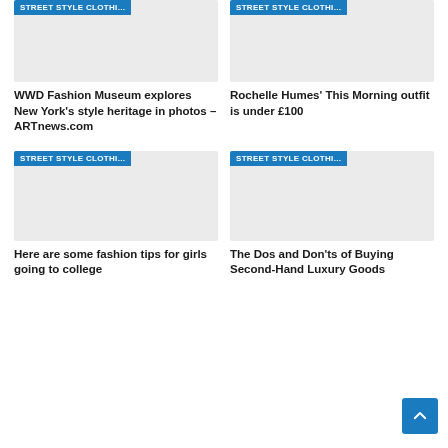[Figure (screenshot): Card grid showing fashion article thumbnails with blue category badge 'STREET STYLE CLOTHI...' and gray placeholder image - top left card]
WWD Fashion Museum explores New York's style heritage in photos – ARTnews.com
[Figure (screenshot): Card grid showing fashion article thumbnails with blue category badge 'STREET STYLE CLOTHI...' and gray placeholder image - top right card]
Rochelle Humes' This Morning outfit is under £100
[Figure (screenshot): Card grid showing fashion article thumbnails with blue category badge 'STREET STYLE CLOTHI...' and gray placeholder image - bottom left card]
Here are some fashion tips for girls going to college
[Figure (screenshot): Card grid showing fashion article thumbnails with blue category badge 'STREET STYLE CLOTHI...' and gray placeholder image - bottom right card]
The Dos and Don'ts of Buying Second-Hand Luxury Goods